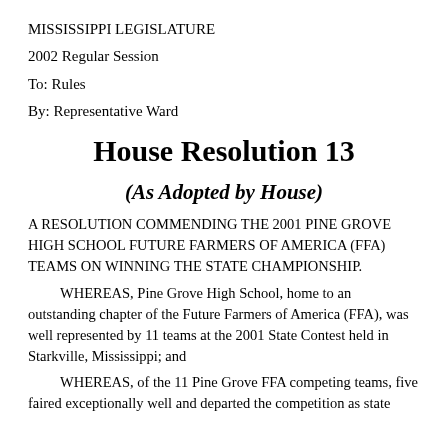MISSISSIPPI LEGISLATURE
2002 Regular Session
To: Rules
By: Representative Ward
House Resolution 13
(As Adopted by House)
A RESOLUTION COMMENDING THE 2001 PINE GROVE HIGH SCHOOL FUTURE FARMERS OF AMERICA (FFA) TEAMS ON WINNING THE STATE CHAMPIONSHIP.
WHEREAS, Pine Grove High School, home to an outstanding chapter of the Future Farmers of America (FFA), was well represented by 11 teams at the 2001 State Contest held in Starkville, Mississippi; and
WHEREAS, of the 11 Pine Grove FFA competing teams, five faired exceptionally well and departed the competition as state